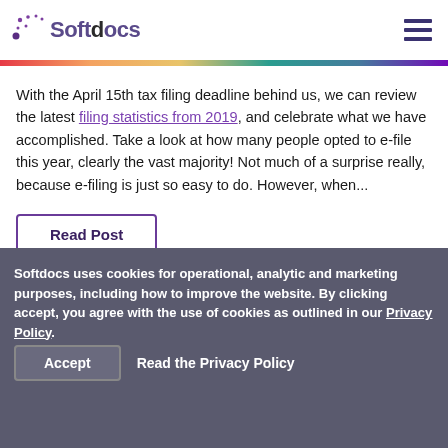Softdocs
With the April 15th tax filing deadline behind us, we can review the latest filing statistics from 2019, and celebrate what we have accomplished. Take a look at how many people opted to e-file this year, clearly the vast majority! Not much of a surprise really, because e-filing is just so easy to do. However, when...
Read Post
Softdocs uses cookies for operational, analytic and marketing purposes, including how to improve the website. By clicking accept, you agree with the use of cookies as outlined in our Privacy Policy.
Accept
Read the Privacy Policy